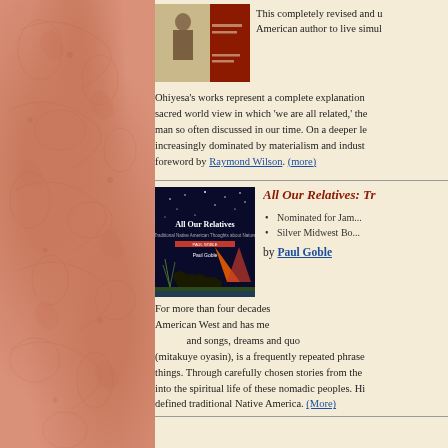[Figure (illustration): Book cover thumbnail showing a person and text, partially visible]
This completely revised and u... American author to live simul...
Ohiyesa's works represent a complete explanation... sacred world view in which 'we are all related,' the... man so often discussed in our time. On a deeper le... increasingly dominated by materialism and indust... foreword by Raymond Wilson. (more)
[Figure (illustration): Book cover of 'All Our Relatives: Traditional Native American Thoughts about Nature' by Paul Goble, showing buffaloes and a teepee under a night sky]
All Our Relatives: Tr
Nominated for Jam...
Silver Midwest Bo...
by Paul Goble
For more than four decades... American West and has me... and songs, dreams and quo... (mitakuye oyasin), is a frequently repeated phrase... things. Through carefully chosen stories from the... into the spiritual life of these nomadic peoples. Hi... defined traditional Native America. (More)